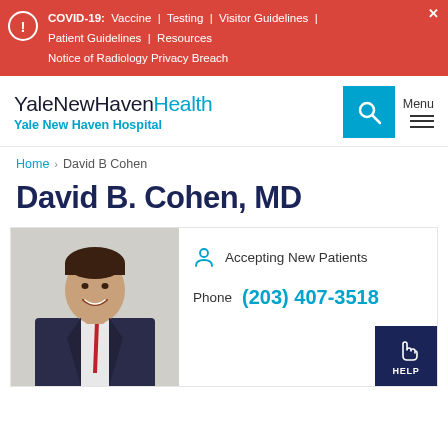COVID-19: Vaccine | Testing | Visitor Guidelines | Patient Guidelines | Resources | Notice of Radiology Privacy Breach
[Figure (logo): YaleNewHavenHealth logo with Yale New Haven Hospital subtitle and search/menu navigation]
Home > David B Cohen
David B. Cohen, MD
[Figure (photo): Professional headshot of Dr. David B. Cohen, a middle-aged man in a dark suit and red tie, smiling]
Accepting New Patients
Phone  (203) 407-3518